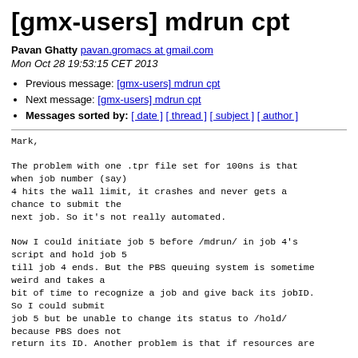[gmx-users] mdrun cpt
Pavan Ghatty pavan.gromacs at gmail.com
Mon Oct 28 19:53:15 CET 2013
Previous message: [gmx-users] mdrun cpt
Next message: [gmx-users] mdrun cpt
Messages sorted by: [ date ] [ thread ] [ subject ] [ author ]
Mark,

The problem with one .tpr file set for 100ns is that when job number (say)
4 hits the wall limit, it crashes and never gets a chance to submit the
next job. So it's not really automated.

Now I could initiate job 5 before /mdrun/ in job 4's script and hold job 5
till job 4 ends. But the PBS queuing system is sometime weird and takes a
bit of time to recognize a job and give back its jobID. So I could submit
job 5 but be unable to change its status to /hold/ because PBS does not
return its ID. Another problem is that if resources are